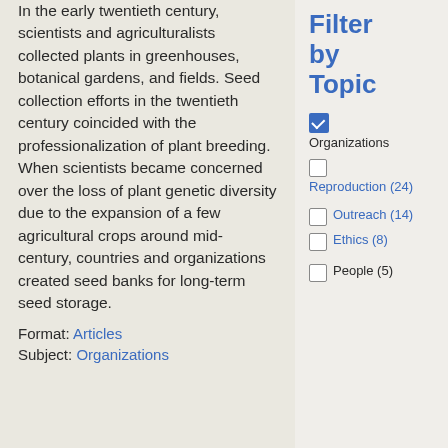In the early twentieth century, scientists and agriculturalists collected plants in greenhouses, botanical gardens, and fields. Seed collection efforts in the twentieth century coincided with the professionalization of plant breeding. When scientists became concerned over the loss of plant genetic diversity due to the expansion of a few agricultural crops around mid-century, countries and organizations created seed banks for long-term seed storage.
Format: Articles
Subject: Organizations
Filter by Topic
[checked] Organizations
[unchecked] Reproduction (24)
[unchecked] Outreach (14)
[unchecked] Ethics (8)
[unchecked] People (5)